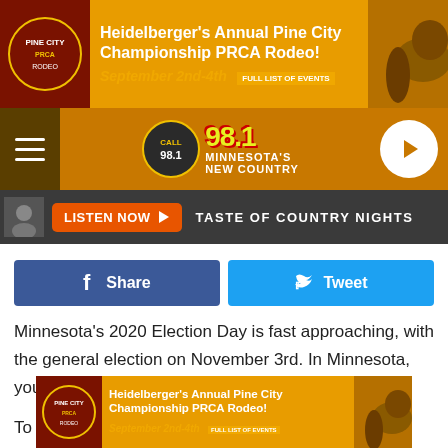[Figure (screenshot): Top advertisement banner for Heidelberger's Annual Pine City Championship PRCA Rodeo with orange/brown background, logo, and rodeo horse image. Text: Heidelberger's Annual Pine City Championship PRCA Rodeo! September 2nd-4th FULL LIST OF EVENTS]
[Figure (logo): 98.1 Minnesota's New Country radio station logo bar with hamburger menu and play button, orange background]
[Figure (screenshot): Dark navigation bar with orange LISTEN NOW button and text TASTE OF COUNTRY NIGHTS]
[Figure (screenshot): Facebook Share and Twitter Tweet social sharing buttons]
Minnesota's 2020 Election Day is fast approaching, with the general election on November 3rd. In Minnesota, you can request absentee ballots and vote at home.
To get a Minnesota absentee ballot sent to you – you don't need to be absent, or actually need any reason at all. You can request a ballot for the primary, general election, or both on
[Figure (screenshot): Bottom advertisement banner for Heidelberger's Annual Pine City Championship PRCA Rodeo with orange background and rodeo horse image.]